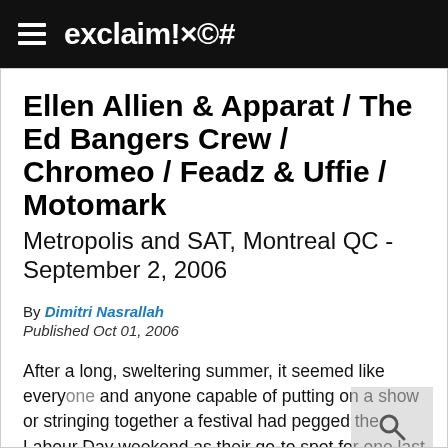exclaim!×©#
Ellen Allien & Apparat / The Ed Bangers Crew / Chromeo / Feadz & Uffie / Motomark
Metropolis and SAT, Montreal QC - September 2, 2006
By Dimitri Nasrallah
Published Oct 01, 2006
After a long, sweltering summer, it seemed like everyone and anyone capable of putting on a show or stringing together a festival had pegged the Labour Day weekend as their go-to spot for one last summer party. The eighth edition of MEG (Montreal Eclectic Groove) was piggybacking on the Osheaga festival   s prominence by hosting one of Osheaga   s four daytime stages and the